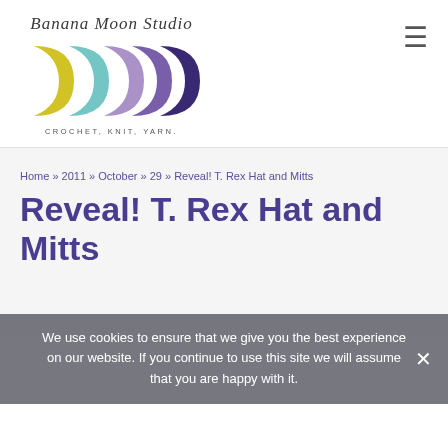[Figure (logo): Banana Moon Studio logo with crescent moon shapes in yellow, teal, lavender, and dark purple, with cursive text 'Banana Moon Studio' and tagline 'CROCHET, KNIT, YARN.']
Home » 2011 » October » 29 » Reveal! T. Rex Hat and Mitts
Reveal! T. Rex Hat and Mitts
We use cookies to ensure that we give you the best experience on our website. If you continue to use this site we will assume that you are happy with it.